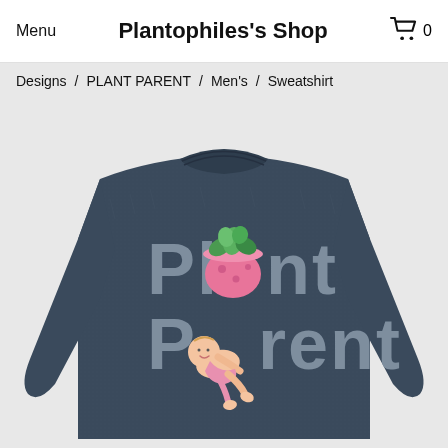Menu   Plantophiles's Shop   0
Designs / PLANT PARENT / Men's / Sweatshirt
[Figure (photo): Navy blue long-sleeve sweatshirt with 'Plant Parent' graphic design featuring a pink pot with green plant and a crawling baby illustration]